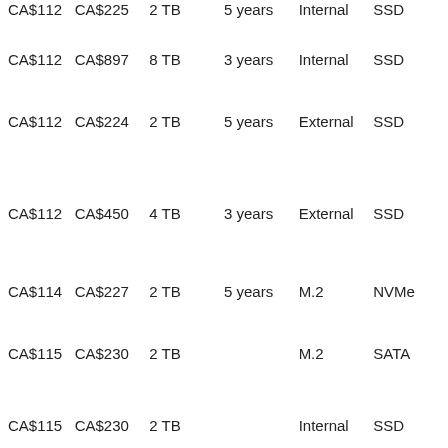| Price | Total | Storage | Warranty | Form Factor | Type |
| --- | --- | --- | --- | --- | --- |
| CA$112 | CA$225 | 2 TB | 5 years | Internal | SSD |
| CA$112 | CA$897 | 8 TB | 3 years | Internal | SSD |
| CA$112 | CA$224 | 2 TB | 5 years | External | SSD |
| CA$112 | CA$450 | 4 TB | 3 years | External | SSD |
| CA$114 | CA$227 | 2 TB | 5 years | M.2 | NVMe |
| CA$115 | CA$230 | 2 TB |  | M.2 | SATA |
| CA$115 | CA$230 | 2 TB |  | Internal | SSD |